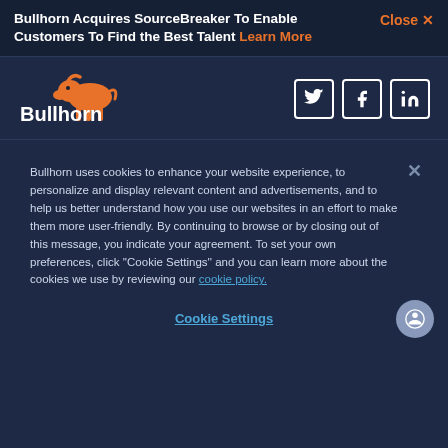Bullhorn Acquires SourceBreaker To Enable Customers To Find the Best Talent Learn More
[Figure (logo): Bullhorn logo with orange bull graphic and white Bullhorn text]
[Figure (infographic): Social media icons: Twitter, Facebook, LinkedIn]
Bullhorn uses cookies to enhance your website experience, to personalize and display relevant content and advertisements, and to help us better understand how you use our websites in an effort to make them more user-friendly. By continuing to browse or by closing out of this message, you indicate your agreement. To set your own preferences, click "Cookie Settings" and you can learn more about the cookies we use by reviewing our cookie policy.
Cookie Settings